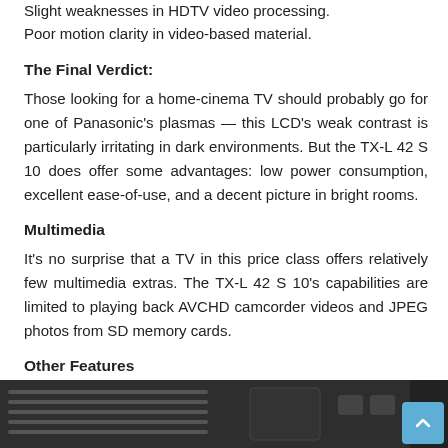Slight weaknesses in HDTV video processing.
Poor motion clarity in video-based material.
The Final Verdict:
Those looking for a home-cinema TV should probably go for one of Panasonic's plasmas — this LCD's weak contrast is particularly irritating in dark environments. But the TX-L 42 S 10 does offer some advantages: low power consumption, excellent ease-of-use, and a decent picture in bright rooms.
Multimedia
It's no surprise that a TV in this price class offers relatively few multimedia extras. The TX-L 42 S 10's capabilities are limited to playing back AVCHD camcorder videos and JPEG photos from SD memory cards.
Other Features
[Figure (photo): Photo of TV back panel/ports area]